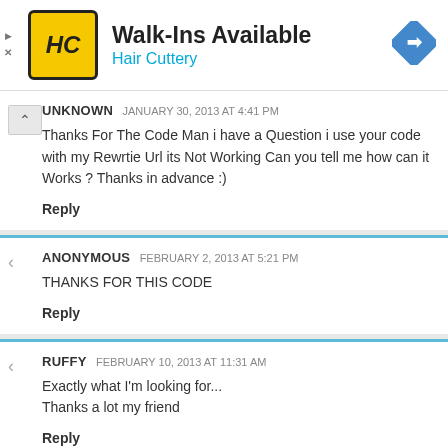[Figure (logo): Hair Cuttery advertisement banner with HC logo, Walk-Ins Available text, and navigation arrow icon]
UNKNOWN  JANUARY 30, 2013 AT 4:41 PM
Thanks For The Code Man i have a Question i use your code with my Rewrtie Url its Not Working Can you tell me how can it Works ? Thanks in advance :)
Reply
ANONYMOUS  FEBRUARY 2, 2013 AT 5:21 PM
THANKS FOR THIS CODE
Reply
RUFFY  FEBRUARY 10, 2013 AT 11:31 AM
Exactly what I'm looking for...
Thanks a lot my friend
Reply